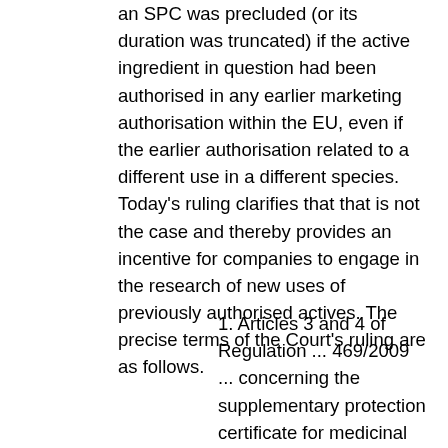an SPC was precluded (or its duration was truncated) if the active ingredient in question had been authorised in any earlier marketing authorisation within the EU, even if the earlier authorisation related to a different use in a different species. Today's ruling clarifies that that is not the case and thereby provides an incentive for companies to engage in the research of new uses of previously authorised actives. The precise terms of the Court's ruling are as follows.
1. Articles 3 and 4 of Regulation ... 469/2009 ... concerning the supplementary protection certificate for medicinal products must be interpreted as meaning that, in a case such as that in the main proceedings, the mere existence of an earlier marketing authorisation obtained for a veterinary medicinal product does not preclude the grant of a supplementary